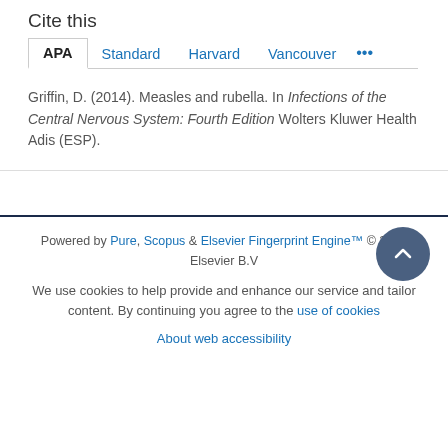Cite this
APA   Standard   Harvard   Vancouver   ...
Griffin, D. (2014). Measles and rubella. In Infections of the Central Nervous System: Fourth Edition Wolters Kluwer Health Adis (ESP).
Powered by Pure, Scopus & Elsevier Fingerprint Engine™ © 2022 Elsevier B.V
We use cookies to help provide and enhance our service and tailor content. By continuing you agree to the use of cookies
About web accessibility